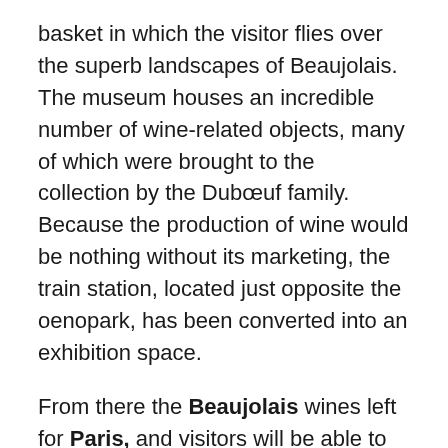basket in which the visitor flies over the superb landscapes of Beaujolais. The museum houses an incredible number of wine-related objects, many of which were brought to the collection by the Dubœuf family. Because the production of wine would be nothing without its marketing, the train station, located just opposite the oenopark, has been converted into an exhibition space.

From there the Beaujolais wines left for Paris, and visitors will be able to discover a wagon offered to Napoleon III by the Compagnie du Nord, as well as miniature circuits. The adventure does not end there, the winemaking center allows everyone to discover the mysteries of wine making. Those from Maison Dubœuf can be tasted at the Hameau restaurant. Shop, gardens, minigolf: everything is ready for amateurs to find what they are looking for. Le Hameau Dubœuf - 71570